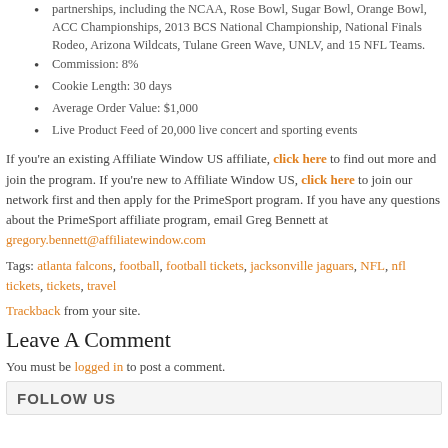partnerships, including the NCAA, Rose Bowl, Sugar Bowl, Orange Bowl, ACC Championships, 2013 BCS National Championship, National Finals Rodeo, Arizona Wildcats, Tulane Green Wave, UNLV, and 15 NFL Teams.
Commission: 8%
Cookie Length: 30 days
Average Order Value: $1,000
Live Product Feed of 20,000 live concert and sporting events
If you're an existing Affiliate Window US affiliate, click here to find out more and join the program. If you're new to Affiliate Window US, click here to join our network first and then apply for the PrimeSport program. If you have any questions about the PrimeSport affiliate program, email Greg Bennett at gregory.bennett@affiliatewindow.com
Tags: atlanta falcons, football, football tickets, jacksonville jaguars, NFL, nfl tickets, tickets, travel
Trackback from your site.
Leave A Comment
You must be logged in to post a comment.
FOLLOW US